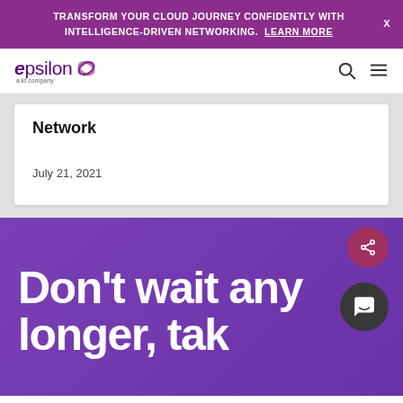TRANSFORM YOUR CLOUD JOURNEY CONFIDENTLY WITH INTELLIGENCE-DRIVEN NETWORKING. LEARN MORE
[Figure (logo): Epsilon logo - epsilon text with stylized 'e' icon, subtitle 'a kt company']
Network
July 21, 2021
Don't wait any longer, tak